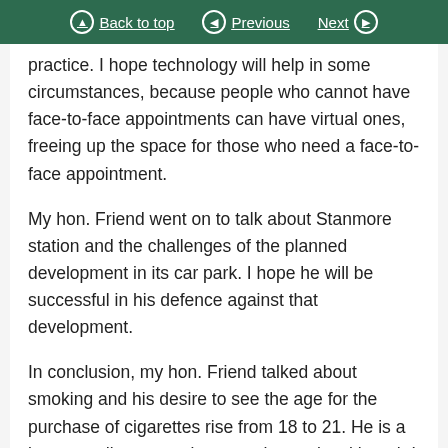Back to top | Previous | Next
practice. I hope technology will help in some circumstances, because people who cannot have face-to-face appointments can have virtual ones, freeing up the space for those who need a face-to-face appointment.
My hon. Friend went on to talk about Stanmore station and the challenges of the planned development in its car park. I hope he will be successful in his defence against that development.
In conclusion, my hon. Friend talked about smoking and his desire to see the age for the purchase of cigarettes rise from 18 to 21. He is a long-standing campaigner on that topic, although I am personally a little more liberal than he is. I recognise the